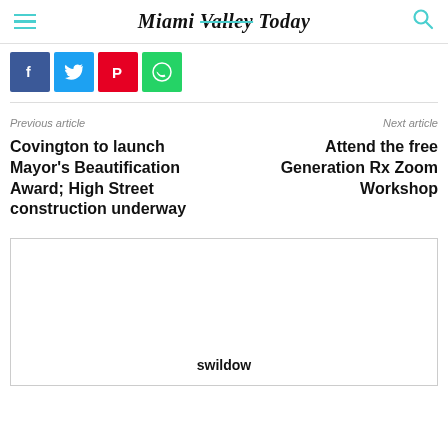Miami Valley Today
[Figure (other): Social share buttons: Facebook (blue), Twitter (cyan), Pinterest (red), WhatsApp (green)]
Previous article
Next article
Covington to launch Mayor's Beautification Award; High Street construction underway
Attend the free Generation Rx Zoom Workshop
[Figure (other): Advertisement box with text: swildow]